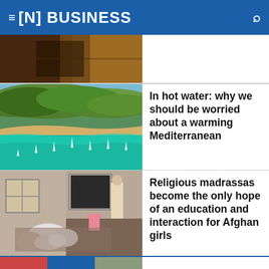[N] BUSINESS
[Figure (photo): Partially cropped photo of a dimly lit interior with warm tones, golden/brown textures]
In hot water: why we should be worried about a warming Mediterranean
[Figure (photo): Aerial view of a Mediterranean coastline with turquoise water, sailboats, sandy beach, and green forested hills]
Religious madrassas become the only hope of an education and interaction for Afghan girls
[Figure (photo): Interior of a classroom in Afghanistan with girls in headscarves sitting on the floor, a blackboard and a man standing at the back]
[Figure (photo): Partial bottom row of thumbnail images, partially cropped]